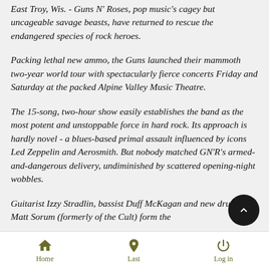East Troy, Wis. - Guns N' Roses, pop music's cagey but uncageable savage beasts, have returned to rescue the endangered species of rock heroes.
Packing lethal new ammo, the Guns launched their mammoth two-year world tour with spectacularly fierce concerts Friday and Saturday at the packed Alpine Valley Music Theatre.
The 15-song, two-hour show easily establishes the band as the most potent and unstoppable force in hard rock. Its approach is hardly novel - a blues-based primal assault influenced by icons Led Zeppelin and Aerosmith. But nobody matched GN'R's armed-and-dangerous delivery, undiminished by scattered opening-night wobbles.
Guitarist Izzy Stradlin, bassist Duff McKagan and new drummer Matt Sorum (formerly of the Cult) form the
Home  Last  Log in